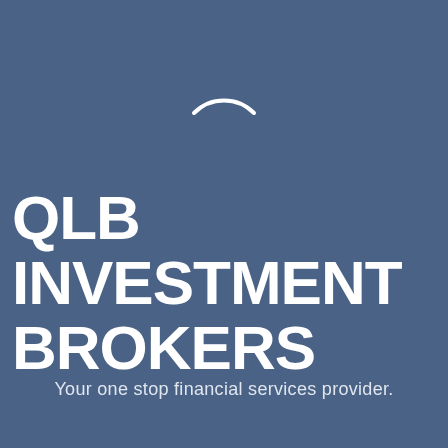[Figure (logo): A white crescent/arc shape forming a partial circle, serving as the QLB Investment Brokers logo mark]
QLB INVESTMENT BROKERS
Your one stop financial services provider.